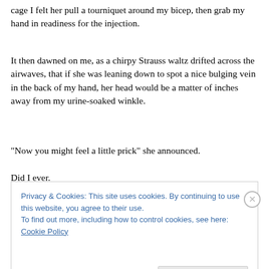cage I felt her pull a tourniquet around my bicep, then grab my hand in readiness for the injection.
It then dawned on me, as a chirpy Strauss waltz drifted across the airwaves, that if she was leaning down to spot a nice bulging vein in the back of my hand, her head would be a matter of inches away from my urine-soaked winkle.
“Now you might feel a little prick” she announced.
Did I ever.
Privacy & Cookies: This site uses cookies. By continuing to use this website, you agree to their use.
To find out more, including how to control cookies, see here: Cookie Policy
Close and accept